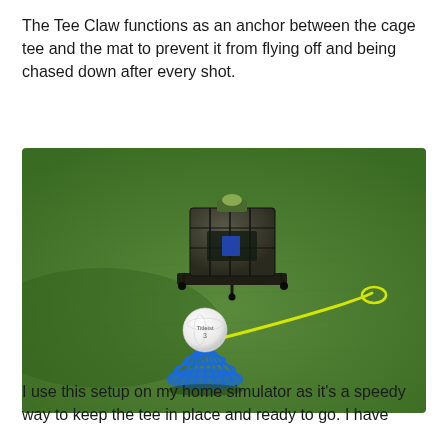The Tee Claw functions as an anchor between the cage tee and the mat to prevent it from flying off and being chased down after every shot.
[Figure (photo): A golf mat on green artificial turf. In the foreground is a blue Tee Claw cage tee holding a white Titleist golf ball. A yellow cord connects the tee to a dark anchor device in the background. The anchor is a dark metal cage-style device sitting flat on the mat with several tee pegs inserted around it.]
I use this setup on my home simulator as it's a speedy way to keep the tee in place and ready to go. I have